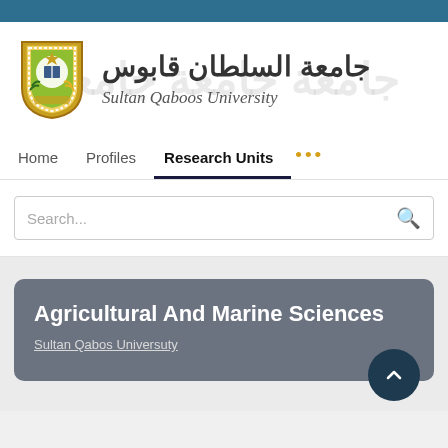[Figure (logo): Sultan Qaboos University logo: shield crest with Arabic text and English name 'Sultan Qaboos University']
جامعة السلطان قابوس
Sultan Qaboos University
Home   Profiles   Research Units   ...
Search...
Agricultural And Marine Sciences
Sultan Qabos Universuty